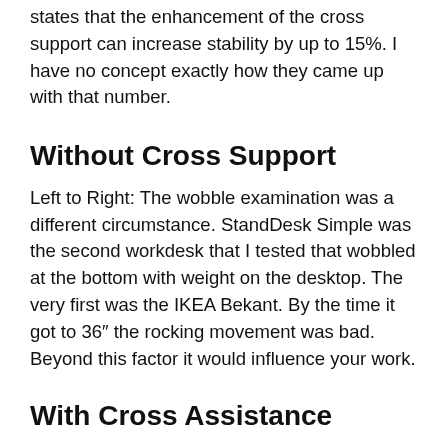states that the enhancement of the cross support can increase stability by up to 15%. I have no concept exactly how they came up with that number.
Without Cross Support
Left to Right: The wobble examination was a different circumstance. StandDesk Simple was the second workdesk that I tested that wobbled at the bottom with weight on the desktop. The very first was the IKEA Bekant. By the time it got to 36″ the rocking movement was bad. Beyond this factor it would influence your work.
With Cross Assistance